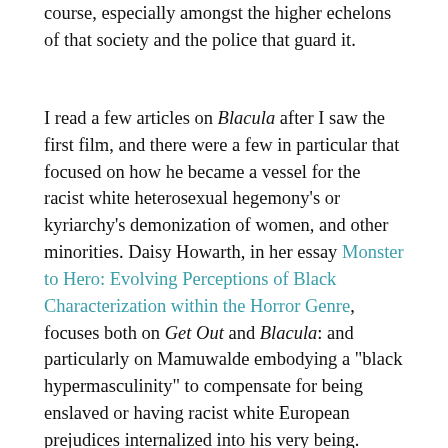course, especially amongst the higher echelons of that society and the police that guard it.
I read a few articles on Blacula after I saw the first film, and there were a few in particular that focused on how he became a vessel for the racist white heterosexual hegemony's or kyriarchy's demonization of women, and other minorities. Daisy Howarth, in her essay Monster to Hero: Evolving Perceptions of Black Characterization within the Horror Genre, focuses both on Get Out and Blacula: and particularly on Mamuwalde embodying a "black hypermasculinity" to compensate for being enslaved or having racist white European prejudices internalized into his very being. Howarth also makes a comment